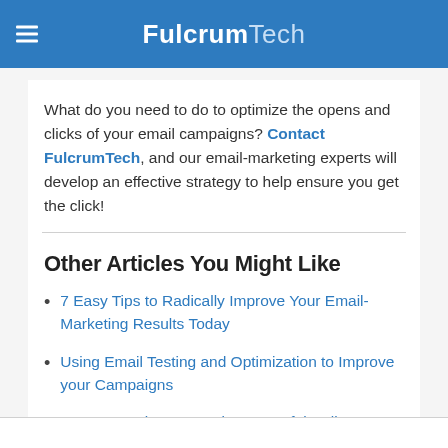FulcrumTech
What do you need to do to optimize the opens and clicks of your email campaigns? Contact FulcrumTech, and our email-marketing experts will develop an effective strategy to help ensure you get the click!
Other Articles You Might Like
7 Easy Tips to Radically Improve Your Email-Marketing Results Today
Using Email Testing and Optimization to Improve your Campaigns
8 Best Practices to Design Powerful Calls to Action that Convert
10 Winning Email Newsletter Best Practices